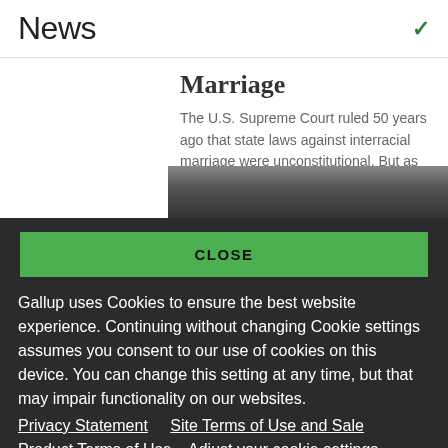News
Marriage
The U.S. Supreme Court ruled 50 years ago that state laws against interracial marriage were unconstitutional. But as that case was wending its way...
[Figure (screenshot): Green CLOSE button on dark background]
Gallup uses Cookies to ensure the best website experience. Continuing without changing Cookie settings assumes you consent to our use of cookies on this device. You can change this setting at any time, but that may impair functionality on our websites.
Privacy Statement   Site Terms of Use and Sale
Product Terms of Use   Adjust your cookie settings.